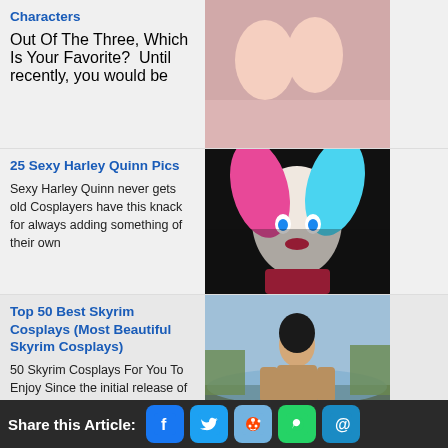[Figure (photo): Card 0 partial: photo of people, top clipped]
Out Of The Three, Which Is Your Favorite?  Until recently, you would be
25 Sexy Harley Quinn Pics
[Figure (illustration): Illustration of Harley Quinn character with colorful hair]
Sexy Harley Quinn never gets old Cosplayers have this knack for always adding something of their own
Top 50 Best Skyrim Cosplays (Most Beautiful Skyrim Cosplays)
[Figure (photo): Photo of woman in Skyrim cosplay by a lake]
50 Skyrim Cosplays For You To Enjoy Since the initial release of
Top 25 New Sci-fi Movies You Need To Watch in 2019
[Figure (photo): Photo/render of woman in sci-fi armor suit]
What Are The Best Sci-Fi Movies of 2019? For those of us who are fans of speculative fiction,
Share this Article: [Facebook] [Twitter] [Reddit] [WhatsApp] [Email]